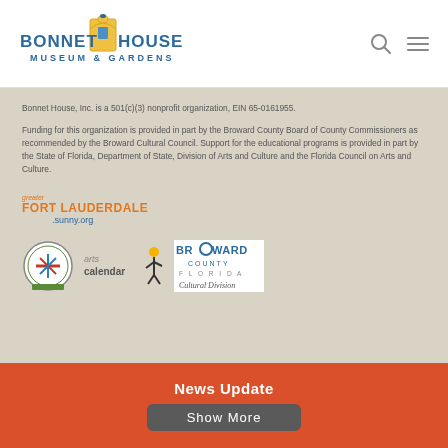[Figure (logo): Bonnet House Museum & Gardens logo with building illustration and text]
Bonnet House, Inc. is a 501(c)(3) nonprofit organization, EIN 65-0161955.
Funding for this organization is provided in part by the Broward County Board of County Commissioners as recommended by the Broward Cultural Council. Support for the educational programs is provided in part by the State of Florida, Department of State, Division of Arts and Culture and the Florida Council on Arts and Culture.
[Figure (logo): Greater Fort Lauderdale sunny.org logo in orange and blue]
[Figure (logo): Three logos: Florida state arts seal, Arts calendar/South Florida logo, and Broward County Florida Cultural Division logo]
News Update
Show More